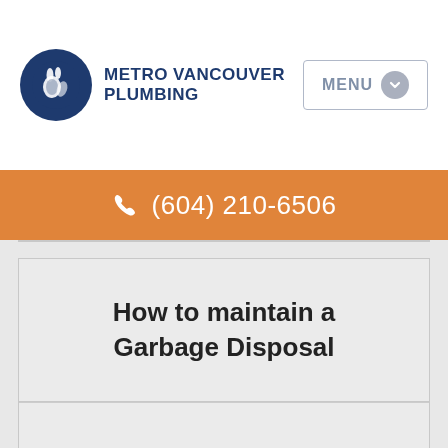Metro Vancouver Plumbing
(604) 210-6506
How to maintain a Garbage Disposal